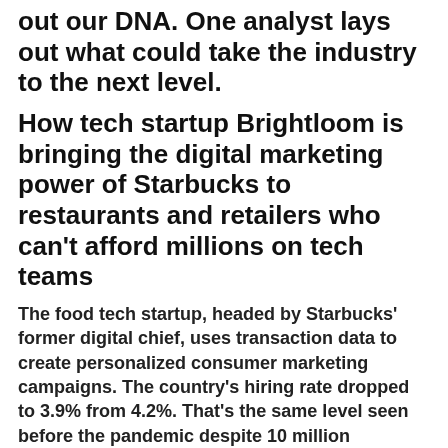out our DNA. One analyst lays out what could take the industry to the next level.
How tech startup Brightloom is bringing the digital marketing power of Starbucks to restaurants and retailers who can’t afford millions on tech teams
The food tech startup, headed by Starbucks’ former digital chief, uses transaction data to create personalized consumer marketing campaigns. The country’s hiring rate dropped to 3.9% from 4.2%. That’s the same level seen before the pandemic despite 10 million Americans looking for jobs.
‘Big Short’ investor Michael Burry blasts trading apps, calls Robinhood a ‘dangerous casino’